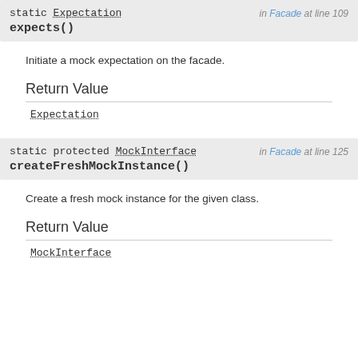static Expectation expects()
in Facade at line 109
Initiate a mock expectation on the facade.
Return Value
Expectation
static protected MockInterface createFreshMockInstance()
in Facade at line 125
Create a fresh mock instance for the given class.
Return Value
MockInterface